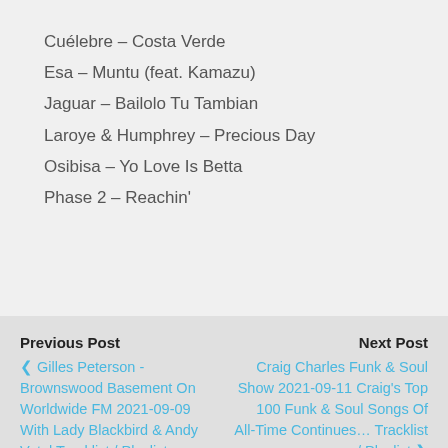Cuélebre – Costa Verde
Esa – Muntu (feat. Kamazu)
Jaguar – Bailolo Tu Tambian
Laroye & Humphrey – Precious Day
Osibisa – Yo Love Is Betta
Phase 2 – Reachin'
Previous Post
‹ Gilles Peterson - Brownswood Basement On Worldwide FM 2021-09-09 With Lady Blackbird & Andy Votel Tracklist / Playlist
Next Post
Craig Charles Funk & Soul Show 2021-09-11 Craig's Top 100 Funk & Soul Songs Of All-Time Continues… Tracklist / Playlist ›